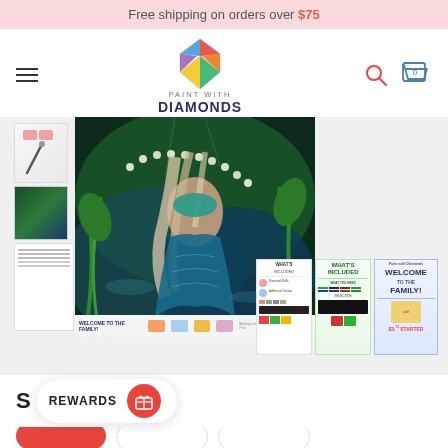Free shipping on orders over $75
[Figure (logo): Paint With Diamonds logo — diamond gem icon above text 'PAINT WITH DIAMONDS']
[Figure (photo): Main product image: diamond painting kit showing a mermaid underwater scene with green plants, pearl necklace, teal tail, surrounded by thumbnail images and instruction panels]
REWARDS
[Figure (illustration): Rewards gift card icon in red circle]